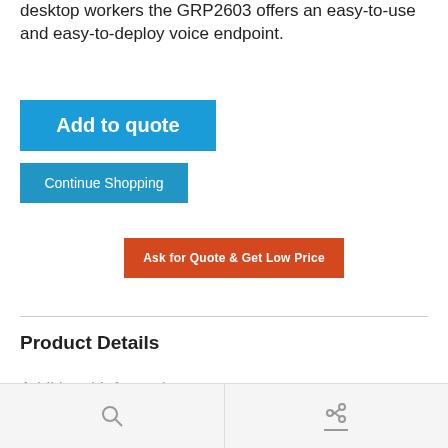desktop workers the GRP2603 offers an easy-to-use and easy-to-deploy voice endpoint.
[Figure (screenshot): Blue 'Add to quote' button]
[Figure (screenshot): Blue 'Continue Shopping' button]
[Figure (screenshot): Red/orange 'Ask for Quote & Get Low Price' button]
Product Details
Additional Information
[Figure (screenshot): Partial CAPTCHA widget in top right corner]
Search icon | Link/share icon